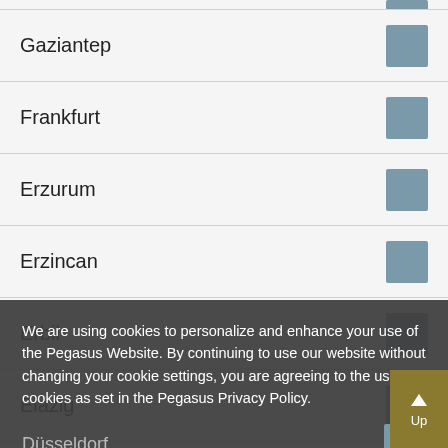Gaziantep
Frankfurt
Erzurum
Erzincan
Erbil
Elazig
Düsseldorf
Doha
We are using cookies to personalize and enhance your use of the Pegasus Website. By continuing to use our website without changing your cookie settings, you are agreeing to the use of cookies as set in the Pegasus Privacy Policy.
Change Settings
I Agree